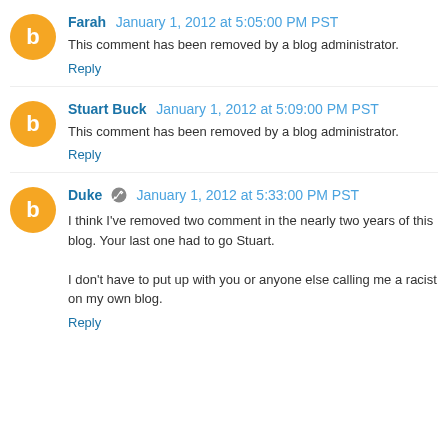Farah January 1, 2012 at 5:05:00 PM PST
This comment has been removed by a blog administrator.
Reply
Stuart Buck January 1, 2012 at 5:09:00 PM PST
This comment has been removed by a blog administrator.
Reply
Duke January 1, 2012 at 5:33:00 PM PST
I think I've removed two comment in the nearly two years of this blog. Your last one had to go Stuart.

I don't have to put up with you or anyone else calling me a racist on my own blog.
Reply